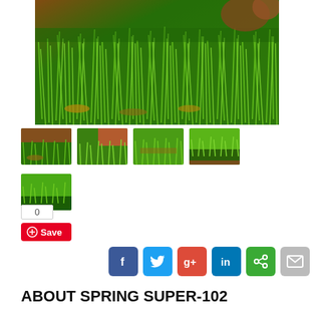[Figure (photo): Close-up photo of green artificial grass blades with red flowers in background]
[Figure (photo): Thumbnail 1: artificial grass with red flowers]
[Figure (photo): Thumbnail 2: artificial grass with red/orange background]
[Figure (photo): Thumbnail 3: artificial grass close-up top view]
[Figure (photo): Thumbnail 4: artificial grass side profile]
[Figure (photo): Thumbnail 5 (bottom row): artificial grass side view]
0
Save
[Figure (infographic): Social sharing icons: Facebook, Twitter, Google+, LinkedIn, Share, Email]
ABOUT SPRING SUPER-102